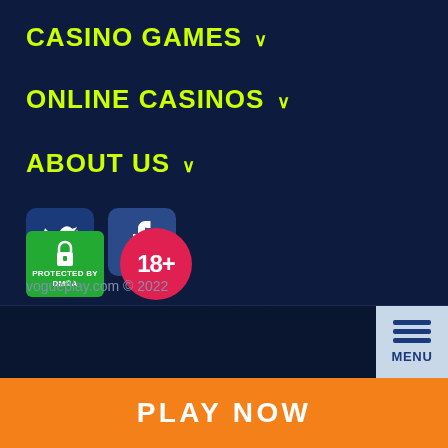CASINO GAMES ∨
ONLINE CASINOS ∨
ABOUT US ∨
[Figure (infographic): Twitter and Facebook social media icon buttons]
Rating: 4 /5 (4 filled stars, 1 empty star)
Votes: 264 (heart icon)
[Figure (infographic): DMCA Protected badge and 18+ age restriction badge]
vogueplay.com © 2022
PLAY NOW